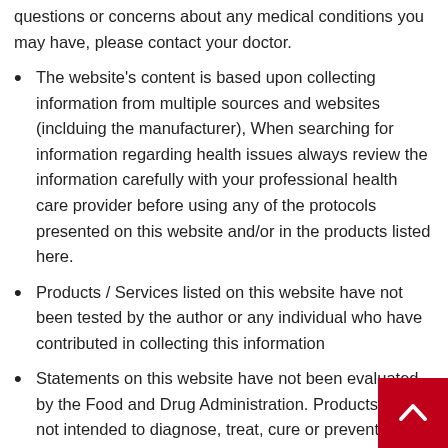questions or concerns about any medical conditions you may have, please contact your doctor.
The website's content is based upon collecting information from multiple sources and websites (inclduing the manufacturer), When searching for information regarding health issues always review the information carefully with your professional health care provider before using any of the protocols presented on this website and/or in the products listed here.
Products / Services listed on this website have not been tested by the author or any individual who have contributed in collecting this information
Statements on this website have not been evaluated by the Food and Drug Administration. Products are not intended to diagnose, treat, cure or prevent any disease. If you are pregnant, nursing, taking medication, or have a medical condition, consult your physician before consuming any